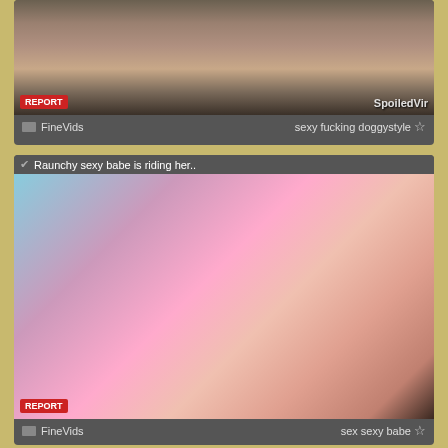[Figure (screenshot): Video thumbnail showing people on a couch with a REPORT badge and SpoiledVir watermark]
FineVids   sexy fucking doggystyle ☆
[Figure (screenshot): Video thumbnail with title 'Raunchy sexy babe is riding her..' showing adult content with REPORT badge]
FineVids   sex sexy babe ☆